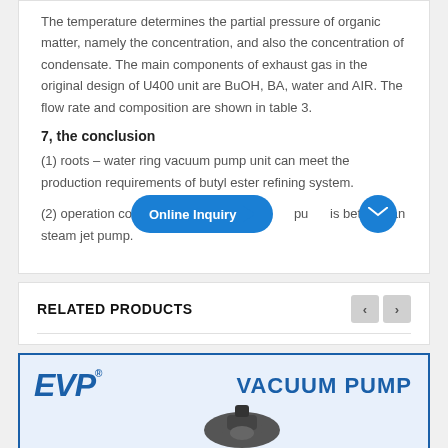The temperature determines the partial pressure of organic matter, namely the concentration, and also the concentration of condensate. The main components of exhaust gas in the original design of U400 unit are BuOH, BA, water and AIR. The flow rate and composition are shown in table 3.
7, the conclusion
(1) roots – water ring vacuum pump unit can meet the production requirements of butyl ester refining system.
(2) operation cost of roots – water ring vacuum pump is better than steam jet pump.
RELATED PRODUCTS
[Figure (logo): EVP Vacuum Pump product card showing EVP registered logo and VACUUM PUMP text with pump image]